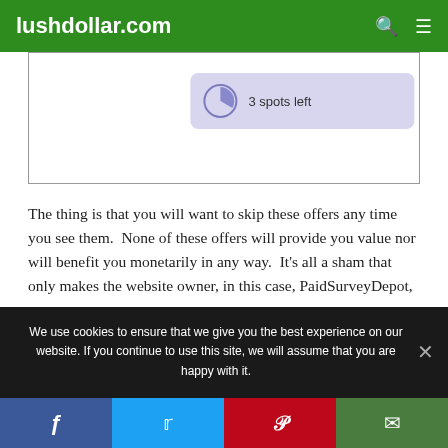lushdollar.com
[Figure (screenshot): A lavender/purple pill-shaped box showing a clock/pie icon and the text '3 spots left']
The thing is that you will want to skip these offers any time you see them.  None of these offers will provide you value nor will benefit you monetarily in any way.  It's all a sham that only makes the website owner, in this case, PaidSurveyDepot, money.
After skipping a variety of offers, you are then taken to yet
We use cookies to ensure that we give you the best experience on our website. If you continue to use this site, we will assume that you are happy with it.